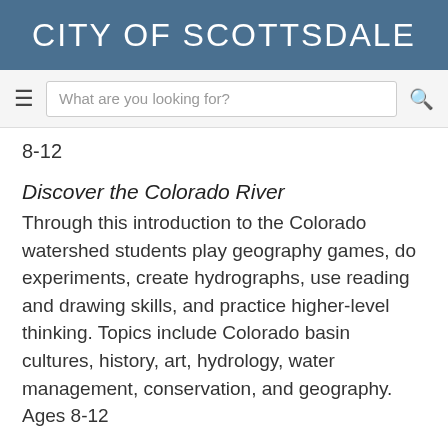CITY OF SCOTTSDALE
[Figure (screenshot): Navigation bar with hamburger menu, search box reading 'What are you looking for?', and search icon]
8-12
Discover the Colorado River
Through this introduction to the Colorado watershed students play geography games, do experiments, create hydrographs, use reading and drawing skills, and practice higher-level thinking. Topics include Colorado basin cultures, history, art, hydrology, water management, conservation, and geography. Ages 8-12
Discover Ground Water and Springs
Through interactive lessons such as filling glasses with sand, gravel, and clay, students learn the principles related to water flow. Watershed animals, hot and cold springs, and everyday water uses are vividly illustrated